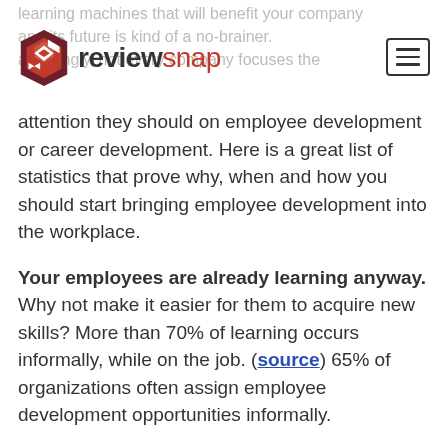reviewsnap
learning machines that will benefit your company and its future is kind of a no-brainer. Surprisingly, not every company focuses the attention they should on employee development or career development. Here is a great list of statistics that prove why, when and how you should start bringing employee development into the workplace.
Your employees are already learning anyway.
Why not make it easier for them to acquire new skills? More than 70% of learning occurs informally, while on the job. (source) 65% of organizations often assign employee development opportunities informally.
Did you know your company can boost employee engagement just by showing off its learning prowess? Over 50% Millennials say that